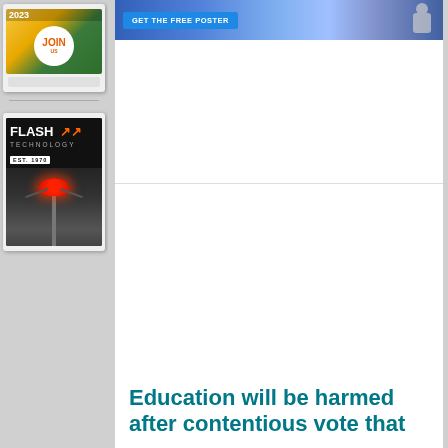[Figure (illustration): Advertisement showing 2023 JOIN badge with green/yellow background]
[Figure (illustration): Flash Technology advertisement with beacon/light on pole against dark background, EST. 1970]
[Figure (illustration): Banner advertisement with blue gradient background and GET THE FREE POSTER button]
Education will be harmed after contentious vote that